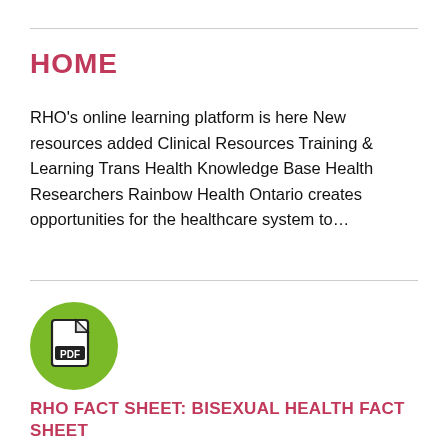HOME
RHO's online learning platform is here New resources added Clinical Resources Training & Learning Trans Health Knowledge Base Health Researchers Rainbow Health Ontario creates opportunities for the healthcare system to…
[Figure (illustration): Green circular icon containing a PDF document symbol with 'PDF' text label]
RHO FACT SHEET: BISEXUAL HEALTH FACT SHEET